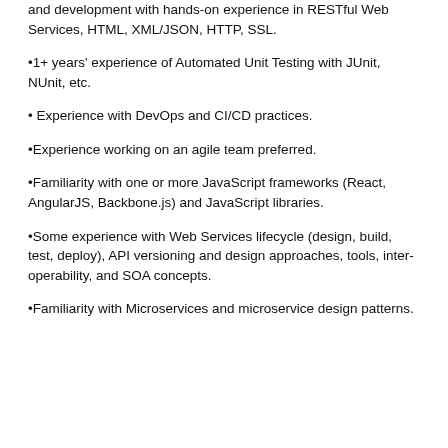and development with hands-on experience in RESTful Web Services, HTML, XML/JSON, HTTP, SSL.
1+ years' experience of Automated Unit Testing with JUnit, NUnit, etc.
Experience with DevOps and CI/CD practices.
Experience working on an agile team preferred.
Familiarity with one or more JavaScript frameworks (React, AngularJS, Backbone.js) and JavaScript libraries.
Some experience with Web Services lifecycle (design, build, test, deploy), API versioning and design approaches, tools, inter-operability, and SOA concepts.
Familiarity with Microservices and microservice design patterns.